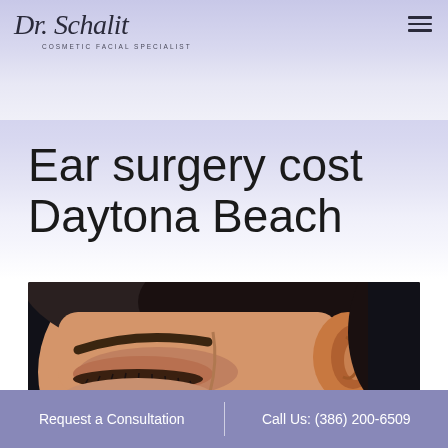Dr. Schalit — Cosmetic Facial Specialist
Ear surgery cost Daytona Beach
[Figure (photo): Close-up photo of a person's face showing their eye, eyebrow, and ear against a dark background — illustrating ear surgery context]
Request a Consultation | Call Us: (386) 200-6509